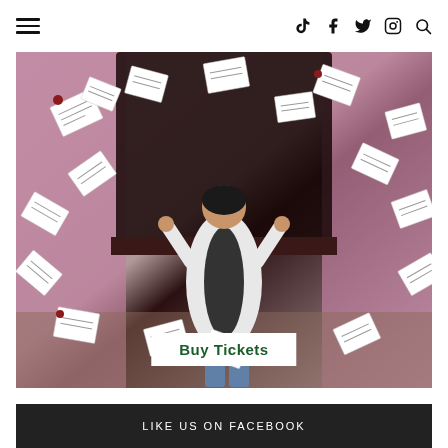Navigation header with hamburger menu and social icons (TikTok, Facebook, Twitter, Instagram, Search)
[Figure (photo): A woman in a white blazer and jeans standing with arms raised, surrounded by flying papers/letters in a room with dark wood furniture and pink walls, with a 'Buy Tickets' button overlay]
LIKE US ON FACEBOOK